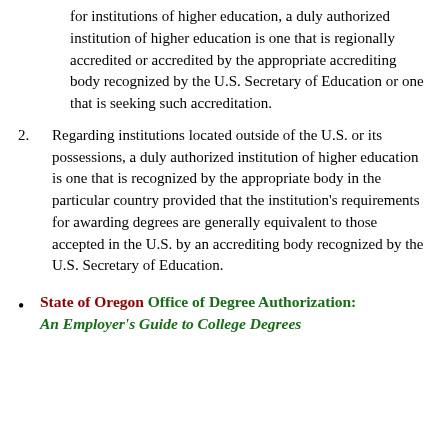for institutions of higher education, a duly authorized institution of higher education is one that is regionally accredited or accredited by the appropriate accrediting body recognized by the U.S. Secretary of Education or one that is seeking such accreditation.
2. Regarding institutions located outside of the U.S. or its possessions, a duly authorized institution of higher education is one that is recognized by the appropriate body in the particular country provided that the institution's requirements for awarding degrees are generally equivalent to those accepted in the U.S. by an accrediting body recognized by the U.S. Secretary of Education.
State of Oregon Office of Degree Authorization: An Employer's Guide to College Degrees